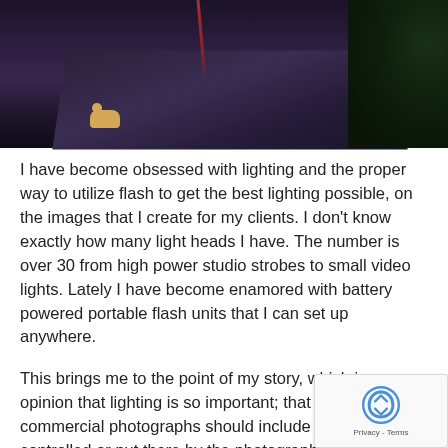[Figure (photo): Dark nighttime photograph showing a road surface with a cat visible in the lower left area, a red light streak in the middle, and dark foliage on the right side. The scene has a purple-dark toned atmosphere.]
I have become obsessed with lighting and the proper way to utilize flash to get the best lighting possible, on the images that I create for my clients. I don't know exactly how many light heads I have. The number is over 30 from high power studio strobes to small video lights. Lately I have become enamored with battery powered portable flash units that I can set up anywhere.
This brings me to the point of my story, which is my opinion that lighting is so important; that all professional commercial photographs should include lighting that is controlled or put there by the photographer, if at all possible.. This is especially true when photographing interiors. Anyone can point a camera and take a photo. A professional will light the scene so that texture and color are brought out and a feeling is created.
Here are a couple of examples of recent home interior im took for a MLS listing. Can you tell which ones I lit with